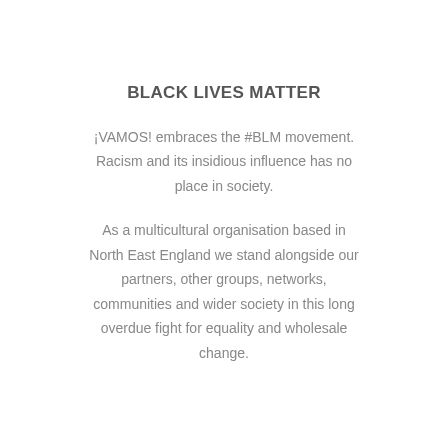BLACK LIVES MATTER
¡VAMOS! embraces the #BLM movement. Racism and its insidious influence has no place in society.
As a multicultural organisation based in North East England we stand alongside our partners, other groups, networks, communities and wider society in this long overdue fight for equality and wholesale change.